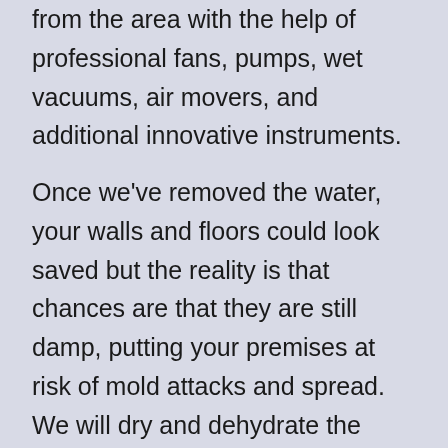from the area with the help of professional fans, pumps, wet vacuums, air movers, and additional innovative instruments.
Once we've removed the water, your walls and floors could look saved but the reality is that chances are that they are still damp, putting your premises at risk of mold attacks and spread. We will dry and dehydrate the premise using technology that manipulates the temperature and inspection equipment to stay in control of the performance. Our experts then use top-notch steam cleaners and additional tools to sanitise and eliminate